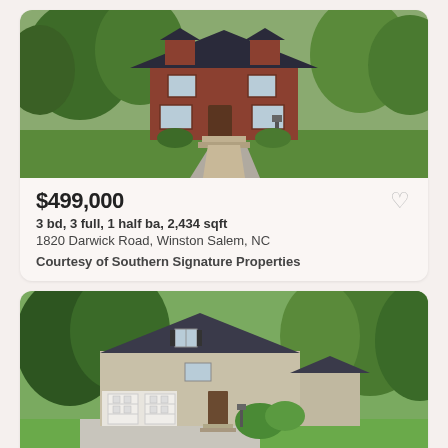[Figure (photo): Exterior photo of a two-story brick colonial house with green lawn and driveway]
$499,000
3 bd, 3 full, 1 half ba, 2,434 sqft
1820 Darwick Road, Winston Salem, NC
Courtesy of Southern Signature Properties
[Figure (photo): Exterior photo of a beige stone house with double garage and wooded background]